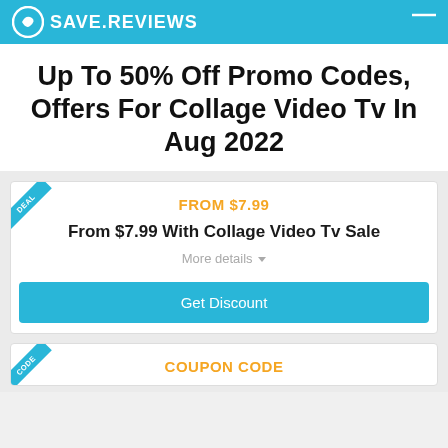SAVE.REVIEWS
Up To 50% Off Promo Codes, Offers For Collage Video Tv In Aug 2022
FROM $7.99
From $7.99 With Collage Video Tv Sale
More details
Get Discount
COUPON CODE